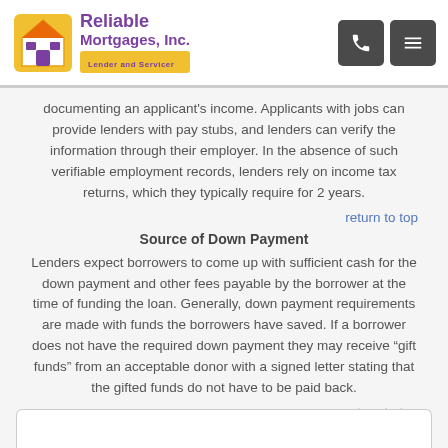Reliable Mortgages, Inc. – Lender and Servicer
documenting an applicant's income. Applicants with jobs can provide lenders with pay stubs, and lenders can verify the information through their employer. In the absence of such verifiable employment records, lenders rely on income tax returns, which they typically require for 2 years.
return to top
Source of Down Payment
Lenders expect borrowers to come up with sufficient cash for the down payment and other fees payable by the borrower at the time of funding the loan. Generally, down payment requirements are made with funds the borrowers have saved. If a borrower does not have the required down payment they may receive “gift funds” from an acceptable donor with a signed letter stating that the gifted funds do not have to be paid back.
return to top